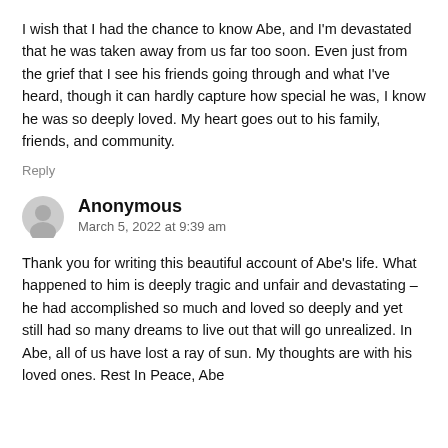I wish that I had the chance to know Abe, and I'm devastated that he was taken away from us far too soon. Even just from the grief that I see his friends going through and what I've heard, though it can hardly capture how special he was, I know he was so deeply loved. My heart goes out to his family, friends, and community.
Reply
Anonymous
March 5, 2022 at 9:39 am
Thank you for writing this beautiful account of Abe's life. What happened to him is deeply tragic and unfair and devastating – he had accomplished so much and loved so deeply and yet still had so many dreams to live out that will go unrealized. In Abe, all of us have lost a ray of sun. My thoughts are with his loved ones. Rest In Peace, Abe